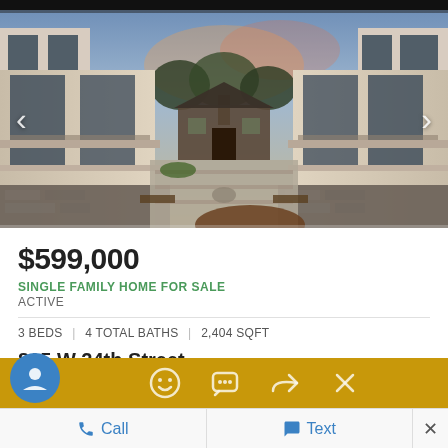[Figure (photo): Exterior courtyard view of modern multi-unit townhome development showing parallel buildings with balconies, a central walkway, and a small house visible in background with trees and sky]
$599,000
SINGLE FAMILY HOME FOR SALE
ACTIVE
3 BEDS | 4 TOTAL BATHS | 2,404 SQFT
815 W 24th Street
Houston, TX 77008
Argentum Heights Subdivision